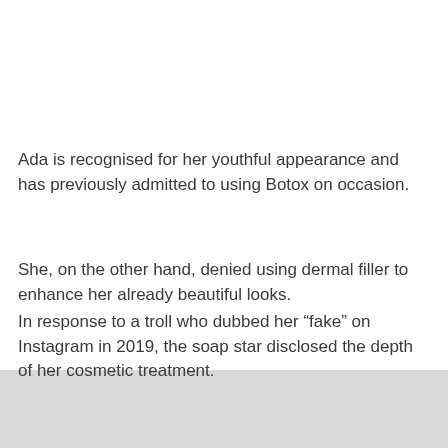Ada is recognised for her youthful appearance and has previously admitted to using Botox on occasion.
She, on the other hand, denied using dermal filler to enhance her already beautiful looks.
In response to a troll who dubbed her “fake” on Instagram in 2019, the soap star disclosed the depth of her cosmetic treatment.